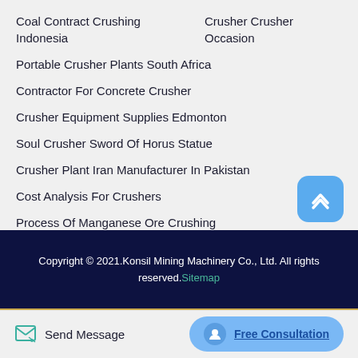Coal Contract Crushing Indonesia    Crusher Crusher Occasion
Portable Crusher Plants South Africa
Contractor For Concrete Crusher
Crusher Equipment Supplies Edmonton
Soul Crusher Sword Of Horus Statue
Crusher Plant Iran Manufacturer In Pakistan
Cost Analysis For Crushers
Process Of Manganese Ore Crushing
Jianyang Friction Crusher    Concrete Crushing Ratings
Copyright © 2021.Konsil Mining Machinery Co., Ltd. All rights reserved. Sitemap
Send Message
Free Consultation